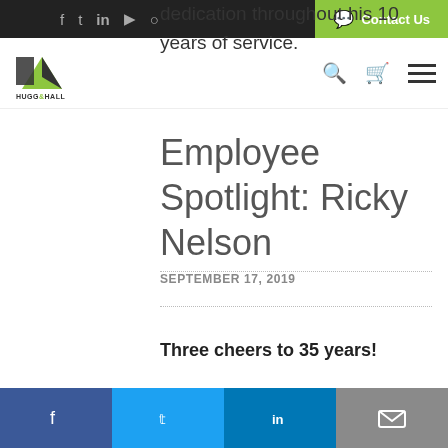Hugg & Hall — navigation bar with social icons and Contact Us button
dedication throughout his 10 years of service.
Employee Spotlight: Ricky Nelson
SEPTEMBER 17, 2019
Three cheers to 35 years!
Social share buttons: Facebook, Twitter, LinkedIn, Email